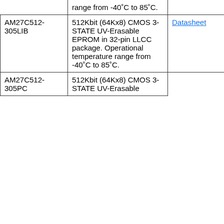| Part Number | Description | Link |
| --- | --- | --- |
|  | range from -40˚C to 85˚C. |  |
| AM27C512-305LIB | 512Kbit (64Kx8) CMOS 3-STATE UV-Erasable EPROM in 32-pin LLCC package. Operational temperature range from -40˚C to 85˚C. | Datasheet |
| AM27C512-305PC | 512Kbit (64Kx8) CMOS 3-STATE UV-Erasable (truncated) |  |